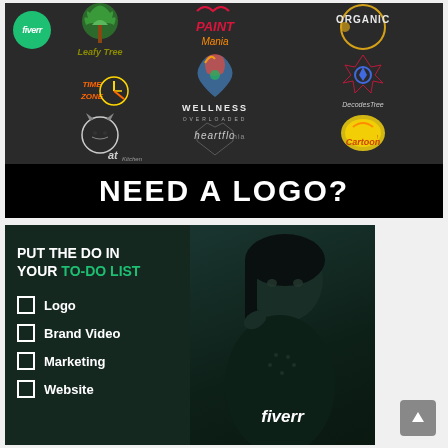[Figure (infographic): Fiverr advertisement banner showing multiple logo designs on a dark background with text 'NEED A LOGO?' in white on black bar at bottom. Includes Fiverr green circle logo in top left corner.]
[Figure (infographic): Fiverr advertisement showing 'PUT THE DO IN YOUR TO-DO LIST' headline with checklist items: Logo, Brand Video, Marketing, Website. Shows a person in dark teal background on the right side. Fiverr logo at bottom.]